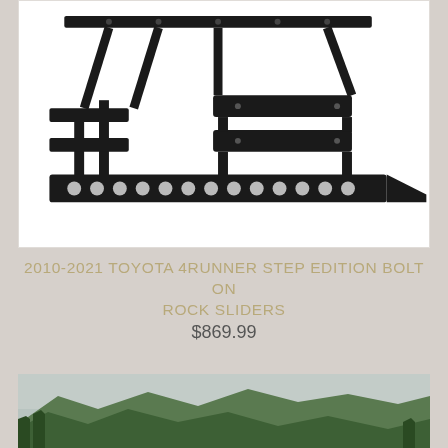[Figure (photo): Black metal rock sliders / step edition bolt-on running board assembly for Toyota 4Runner, shown disassembled with multiple components including the main slider bar with circular holes and mounting brackets, on white background]
2010-2021 TOYOTA 4RUNNER STEP EDITION BOLT ON ROCK SLIDERS
$869.99
[Figure (photo): Landscape photo of green forested mountains under an overcast sky]